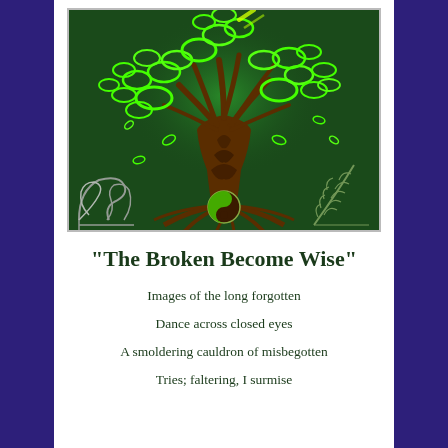[Figure (illustration): Celtic tree of life illustration on dark green background. The tree has an intertwined knotwork trunk with spreading roots and a canopy of circular looping bright green leaves/rings. A yin-yang symbol appears in the roots. Decorative corner elements: silver scrollwork bottom-left, fern frond bottom-right. Bright green light glows behind the tree.]
“The Broken Become Wise”
Images of the long forgotten
Dance across closed eyes
A smoldering cauldron of misbegotten
Tries; faltering, I surmise